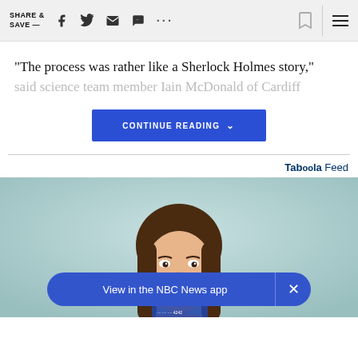SHARE & SAVE —
"The process was rather like a Sherlock Holmes story," said science team member Iain McDonald of Cardiff
CONTINUE READING
Taboola Feed
[Figure (photo): Young woman with long brown hair smiling at camera against a light teal background, holding a credit card]
View in the NBC News app